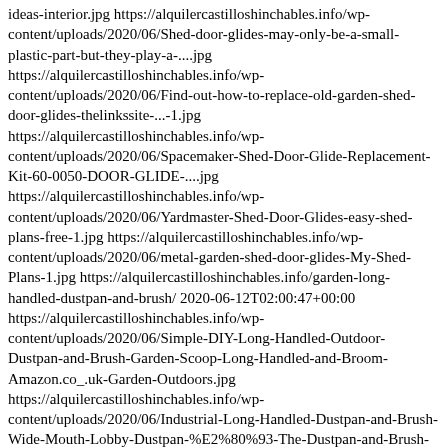ideas-interior.jpg https://alquilercastilloshinchables.info/wp-content/uploads/2020/06/Shed-door-glides-may-only-be-a-small-plastic-part-but-they-play-a-....jpg https://alquilercastilloshinchables.info/wp-content/uploads/2020/06/Find-out-how-to-replace-old-garden-shed-door-glides-thelinkssite-...-1.jpg https://alquilercastilloshinchables.info/wp-content/uploads/2020/06/Spacemaker-Shed-Door-Glide-Replacement-Kit-60-0050-DOOR-GLIDE-....jpg https://alquilercastilloshinchables.info/wp-content/uploads/2020/06/Yardmaster-Shed-Door-Glides-easy-shed-plans-free-1.jpg https://alquilercastilloshinchables.info/wp-content/uploads/2020/06/metal-garden-shed-door-glides-My-Shed-Plans-1.jpg https://alquilercastilloshinchables.info/garden-long-handled-dustpan-and-brush/ 2020-06-12T02:00:47+00:00 https://alquilercastilloshinchables.info/wp-content/uploads/2020/06/Simple-DIY-Long-Handled-Outdoor-Dustpan-and-Brush-Garden-Scoop-Long-Handled-and-Broom-Amazon.co_.uk-Garden-Outdoors.jpg https://alquilercastilloshinchables.info/wp-content/uploads/2020/06/Industrial-Long-Handled-Dustpan-and-Brush-Wide-Mouth-Lobby-Dustpan-%E2%80%93-The-Dustpan-and-Brush-Store.jpg https://alquilercastilloshinchables.info/wp-content/uploads/2020/06/Long-Handle-Dustpan-and-Brush-2-Piece-Set-for-Sweeping-Cleaning-4-Colours-Amazon.co_.uk-Kitchen-Home.sitedesktiltskilledinkitable.info